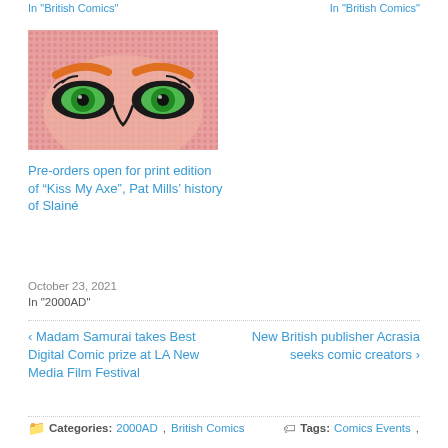In "British Comics"  In "British Comics"
[Figure (photo): Close-up comic book art of a face with green eyes and orange eyebrows on a red halftone dot background]
Pre-orders open for print edition of “Kiss My Axe”, Pat Mills’ history of Slainé
October 23, 2021
In "2000AD"
‹ Madam Samurai takes Best Digital Comic prize at LA New Media Film Festival
New British publisher Acrasia seeks comic creators ›
Categories:  2000AD  ,  British Comics
Tags:  Comics Events  ,